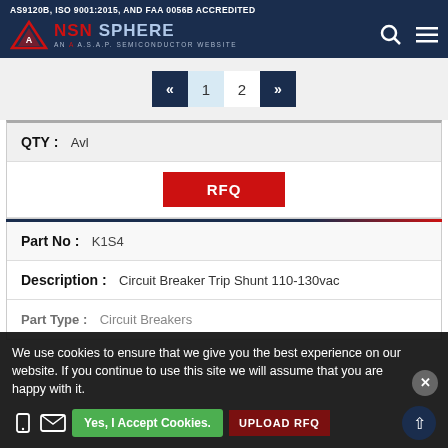AS9120B, ISO 9001:2015, AND FAA 0056B ACCREDITED — NSN SPHERE, AN A.S.A.P. SEMICONDUCTOR WEBSITE
| Field | Value |
| --- | --- |
| QTY | Avl |
|  | RFQ |
| Part No | K1S4 |
| Description | Circuit Breaker Trip Shunt 110-130vac |
| Part Type | Circuit Breakers |
We use cookies to ensure that we give you the best experience on our website. If you continue to use this site we will assume that you are happy with it.